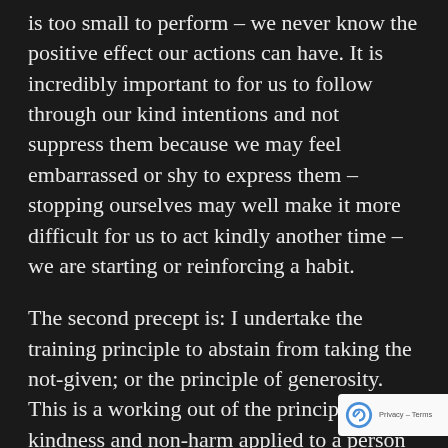is too small to perform – we never know the positive effect our actions can have. It is incredibly important to for us to follow through our kind intentions and not suppress them because we may feel embarrassed or shy to express them – stopping ourselves may well make it more difficult for us to act kindly another time – we are starting or reinforcing a habit.
The second precept is: I undertake the training principle to abstain from taking the not-given; or the principle of generosity. This is a working out of the principle of kindness and non-harm applied to a person or being indirectly, for example to their belongings. Many of us wi...